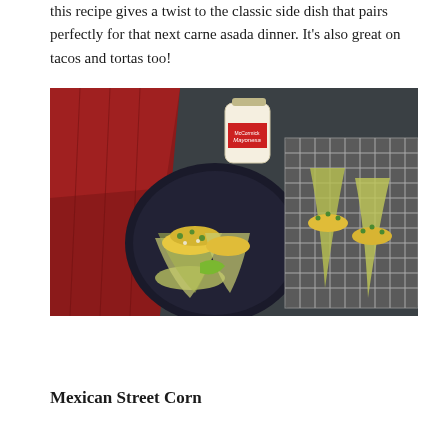this recipe gives a twist to the classic side dish that pairs perfectly for that next carne asada dinner. It's also great on tacos and tortas too!
[Figure (photo): Overhead shot of Mexican street corn (elotes) with husks pulled back, topped with crumbled cheese and cilantro, served on a dark plate and a metal baking rack, with a jar of McCormick Mayonesa and a red cloth napkin on a dark slate background.]
Mexican Street Corn